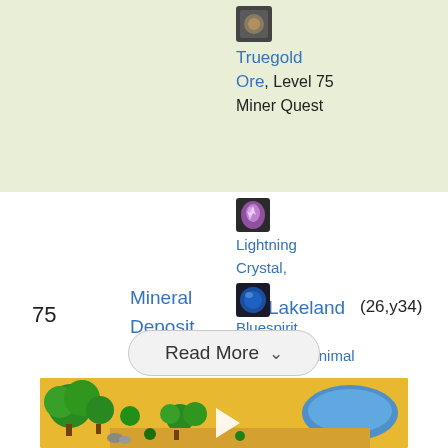| Level | Node Type | Zone | Coordinates | Drops |
| --- | --- | --- | --- | --- |
|  |  |  |  | Truegold Ore, Level 75 Miner Quest |
| 75 | Mineral Deposit | Lakeland | (26,y34) | Lightning Crystal, Bluespirit Ore, Animal Droppings |
[Figure (screenshot): Read More button with chevron dropdown indicator]
[Figure (screenshot): Game screenshot of a Stardew Valley-like game map showing trees, sandy terrain, water, and a play button overlay for video]